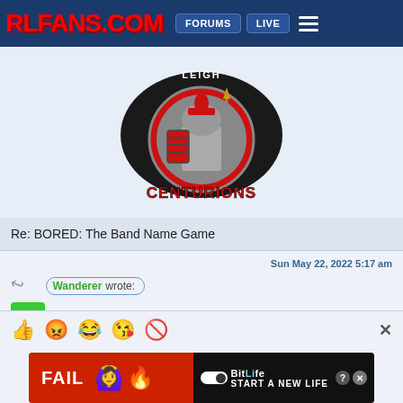RLFANS.COM — FORUMS | LIVE
[Figure (logo): Leigh Centurions rugby league team logo — red and grey Roman centurion mascot with 'LEIGH CENTURIONS' text in red on dark background]
Re: BORED: The Band Name Game
Sun May 22, 2022 5:17 am
Wanderer wrote:
leeper
[Figure (infographic): Advertisement banner: BitLife - Start A New Life mobile game ad with FAIL text, cartoon person, flames, and BitLife logo]